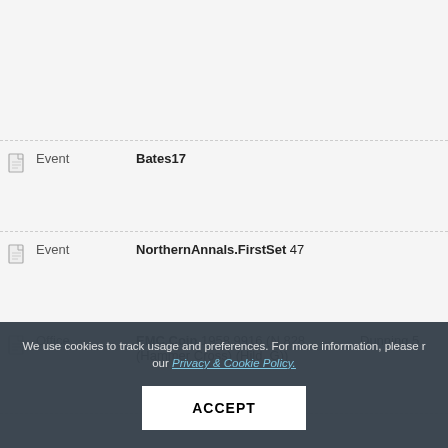|  | Type | Name | Ref |
| --- | --- | --- | --- |
|  |  |  |  |
|  | Event | Bates17 |  |
|  | Event | NorthernAnnals.FirstSet  47 |  |
|  | Office | EMC Coin  1958.9916 (N 828 (Hammer Cross) (Hild. G)) | Dunning 5 |
We use cookies to track usage and preferences. For more information, please review our Privacy & Cookie Policy.
ACCEPT